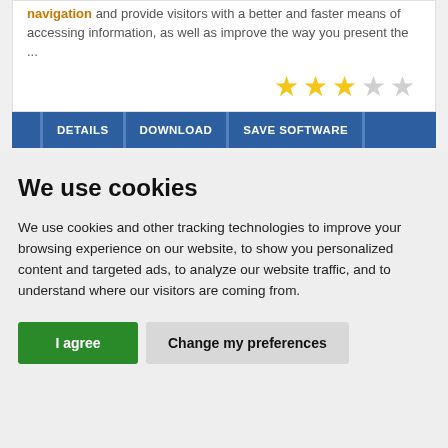navigation and provide visitors with a better and faster means of accessing information, as well as improve the way you present the ...
[Figure (other): Star rating showing 3 out of 5 stars filled in gold/yellow, 2 empty stars]
[Figure (infographic): Blue navigation bar with buttons: DETAILS | DOWNLOAD | SAVE SOFTWARE]
We use cookies
We use cookies and other tracking technologies to improve your browsing experience on our website, to show you personalized content and targeted ads, to analyze our website traffic, and to understand where our visitors are coming from.
I agree   Change my preferences